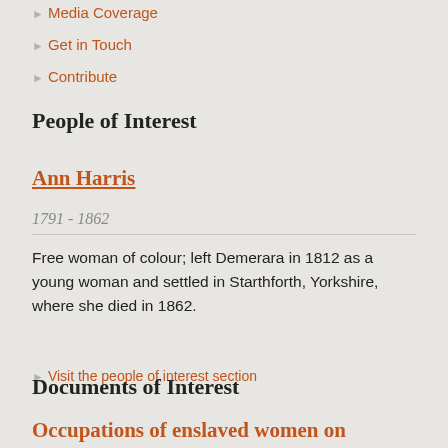Media Coverage
Get in Touch
Contribute
People of Interest
Ann Harris
1791 - 1862
Free woman of colour; left Demerara in 1812 as a young woman and settled in Starthforth, Yorkshire, where she died in 1862.
Visit the people of interest section
Documents of Interest
Occupations of enslaved women on